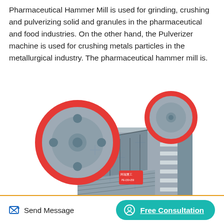Pharmaceutical Hammer Mill is used for grinding, crushing and pulverizing solid and granules in the pharmaceutical and food industries. On the other hand, the Pulverizer machine is used for crushing metals particles in the metallurgical industry. The pharmaceutical hammer mill is.
[Figure (photo): Industrial jaw crusher machine with two large red-rimmed flywheels, grey metal body, and a red manufacturer label. The machine has a structured frame with multiple plates and bolts visible.]
Send Message   Free Consultation